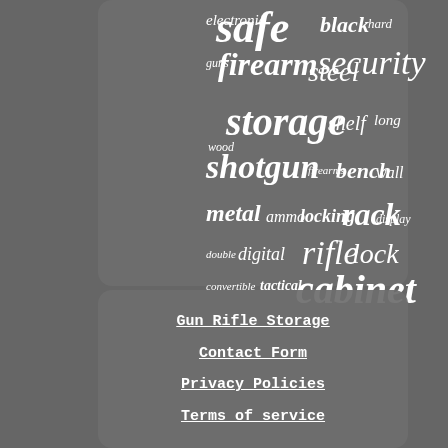[Figure (infographic): Word cloud with firearm/gun safe related terms: safe, electronic, black, hard, guns, firearm, steel, security, wood, storage, shelf, long, shotgun, firearms, bench, wall, metal, ammo, locking, rack, display, double, digital, rifle, lock, convertible, tactical, cabinet. Gray rounded rectangle background overlaid on a photo of gun barrels.]
Gun Rifle Storage
Contact Form
Privacy Policies
Terms of service